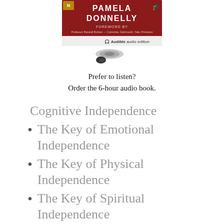[Figure (photo): Audible audio edition book cover showing 'Pamela Donnelly' with headphones and Audible logo, partially cropped at top]
Prefer to listen?
Order the 6-hour audio book.
Cognitive Independence
The Key of Emotional Independence
The Key of Physical Independence
The Key of Spiritual Independence